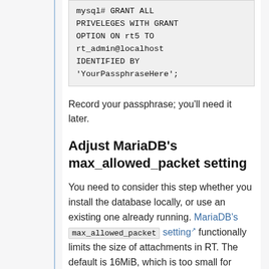mysql# GRANT ALL PRIVELEGES WITH GRANT OPTION ON rt5 TO rt_admin@localhost IDENTIFIED BY 'YourPassphraseHere';
Record your passphrase; you'll need it later.
Adjust MariaDB's max_allowed_packet setting
You need to consider this step whether you install the database locally, or use an existing one already running. MariaDB's max_allowed_packet setting functionally limits the size of attachments in RT. The default is 16MiB, which is too small for most installations. You can ultimately choose any setting you're comfortable with; 64MiB here should